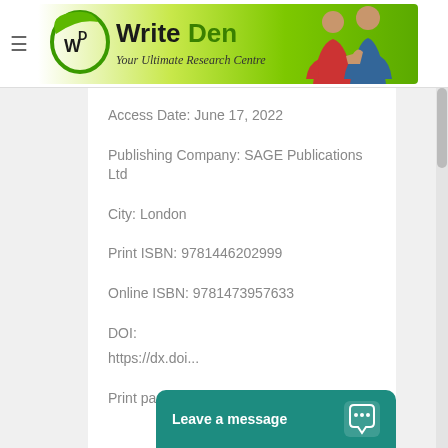[Figure (logo): WriteDen logo with green banner and tagline 'Your Ultimate Research Centre' with students image on right]
Access Date: June 17, 2022
Publishing Company: SAGE Publications Ltd
City: London
Print ISBN: 9781446202999
Online ISBN: 9781473957633
DOI:
https://dx.doi...
[Figure (screenshot): Teal chat widget at bottom right with text 'Leave a message' and chat bubble icon]